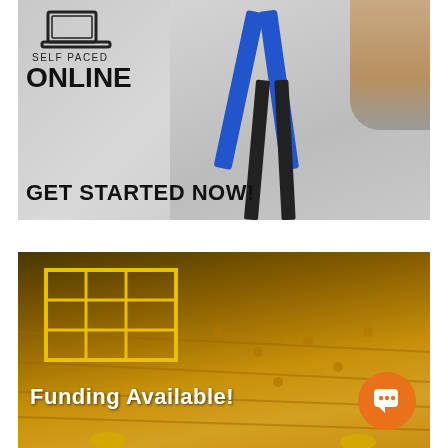[Figure (photo): Self-paced online course advertisement showing a person adjusting a fall protection harness with blue straps. Text overlay reads 'SELF PACED ONLINE' and 'GET STARTED NOW!']
[Figure (photo): Construction site aerial view showing wooden floor with yellow safety railing and workers in hard hats. Text overlay reads 'Funding Available!' with an orange chat bubble icon in the bottom right.]